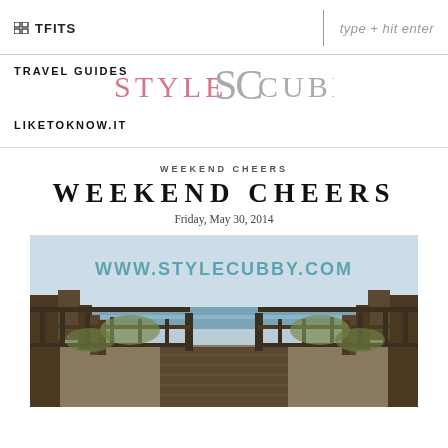OUTFITS  |  type + hit enter
TRAVEL GUIDES
[Figure (logo): Style Cubby logo with SC monogram in gray, STYLE in pink and CUBBY in gray text]
LIKETOKNOW.IT
WEEKEND CHEERS
WEEKEND CHEERS
Friday, May 30, 2014
[Figure (photo): A beach boardwalk with wooden railings leading toward the ocean, with WWW.STYLECUBBY.COM watermark overlaid in teal text]